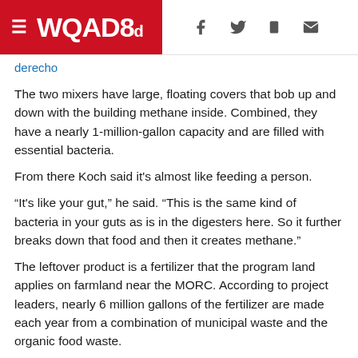WQAD8
derecho
The two mixers have large, floating covers that bob up and down with the building methane inside. Combined, they have a nearly 1-million-gallon capacity and are filled with essential bacteria.
From there Koch said it's almost like feeding a person.
"It's like your gut," he said. "This is the same kind of bacteria in your guts as is in the digesters here. So it further breaks down that food and then it creates methane."
The leftover product is a fertilizer that the program land applies on farmland near the MORC. According to project leaders, nearly 6 million gallons of the fertilizer are made each year from a combination of municipal waste and the organic food waste.